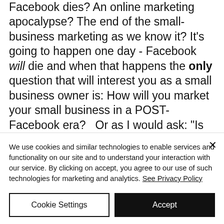Facebook dies?  An online marketing apocalypse? The end of the small-business marketing as we know it? It's going to happen one day - Facebook will die and when that happens the only question that will interest you as a small business owner is: How will you market your small business in a POST-Facebook era?   Or as I would ask: "Is your marketing plan Facebook-proof?"
We use cookies and similar technologies to enable services and functionality on our site and to understand your interaction with our service. By clicking on accept, you agree to our use of such technologies for marketing and analytics. See Privacy Policy